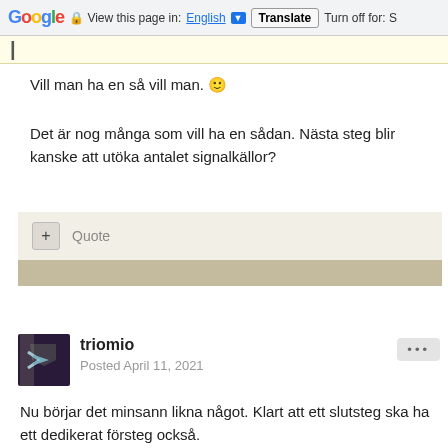Google | View this page in: English ▼ | Translate | Turn off for: S
Vill man ha en så vill man. 🙂
Det är nog många som vill ha en sådan. Nästa steg blir kanske att utöka antalet signalkällor?
+ Quote
triomio
Posted April 11, 2021
Nu börjar det minsann likna något. Klart att ett slutsteg ska ha ett dedikerat försteg också.